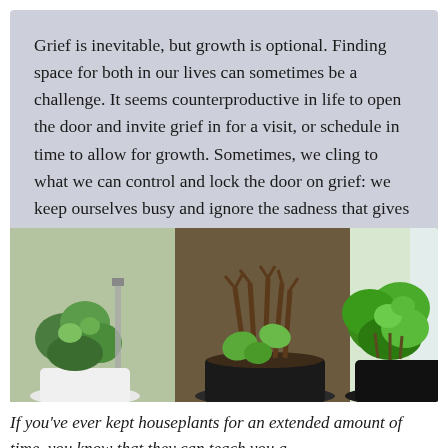Grief is inevitable, but growth is optional. Finding space for both in our lives can sometimes be a challenge. It seems counterproductive in life to open the door and invite grief in for a visit, or schedule in time to allow for growth. Sometimes, we cling to what we can control and lock the door on grief: we keep ourselves busy and ignore the sadness that gives life meaning.
[Figure (photo): Three potted houseplants on a windowsill: a small leafy green plant on the left in a white pot, a bare-branched plant with new leaves sprouting in a dark pot in the center, and a vibrant green leafy plant on the right in a dark pot.]
If you've ever kept houseplants for an extended amount of time, you know that they can teach you a